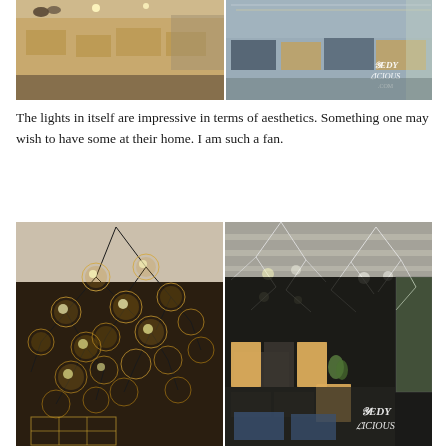[Figure (photo): Two side-by-side restaurant interior photos showing dining area with tables, chairs, and decorative lighting]
The lights in itself are impressive in terms of aesthetics. Something one may wish to have some at their home. I am such a fan.
[Figure (photo): Two side-by-side photos: left shows close-up of glass globe pendant lights in bubble/molecular arrangement; right shows restaurant interior with angular geometric pendant lights and dining seating with YedyLicious.com watermark]